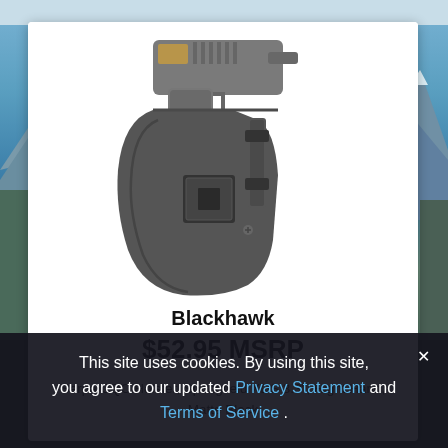[Figure (photo): Photo of a Blackhawk Serpa CQC gun holster in matte black with a pistol inserted, shown from the side.]
Blackhawk
$52.95 MSRP
Serpa CQC Holster, Springfield XDS 3.3", Right Hand, Matte Black
This site uses cookies. By using this site, you agree to our updated Privacy Statement and Terms of Service .